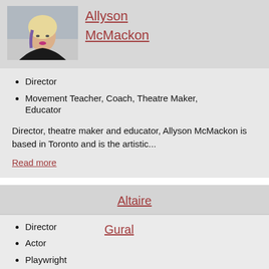[Figure (photo): Headshot photo of Allyson McMackon, a woman with light hair and purple highlights]
Allyson McMackon
Director
Movement Teacher, Coach, Theatre Maker, Educator
Director, theatre maker and educator, Allyson McMackon is based in Toronto and is the artistic...
Read more
Altaire
Gural
Director
Actor
Playwright